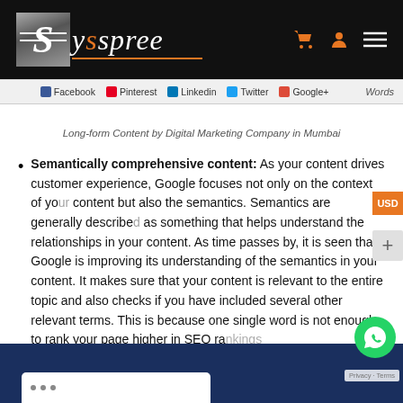[Figure (logo): Syspree logo in white and orange on black header background]
Words
Facebook  Pinterest  Linkedin  Twitter  Google+
Long-form Content by Digital Marketing Company in Mumbai
Semantically comprehensive content: As your content drives customer experience, Google focuses not only on the context of your content but also the semantics. Semantics are generally described as something that helps understand the relationships in your content. As time passes by, it is seen that Google is improving its understanding of the semantics in your content. It makes sure that your content is relevant to the entire topic and also checks if you have included several other relevant terms. This is because one single word is not enough to rank your page higher in SEO ra…
[Figure (screenshot): Blue footer area with browser window mockup]